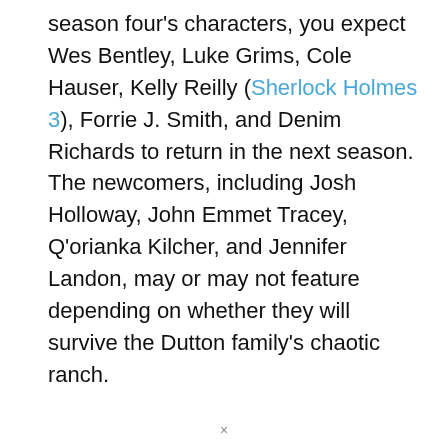season four's characters, you expect Wes Bentley, Luke Grims, Cole Hauser, Kelly Reilly (Sherlock Holmes 3), Forrie J. Smith, and Denim Richards to return in the next season. The newcomers, including Josh Holloway, John Emmet Tracey, Q'orianka Kilcher, and Jennifer Landon, may or may not feature depending on whether they will survive the Dutton family's chaotic ranch.
×